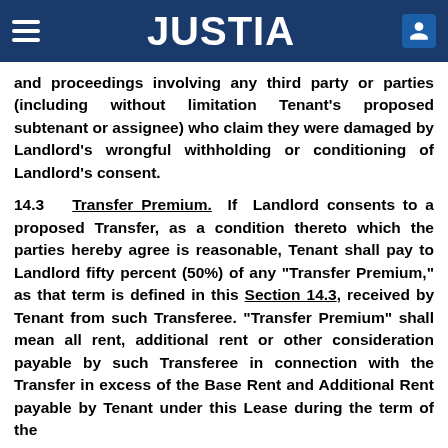JUSTIA
and proceedings involving any third party or parties (including without limitation Tenant's proposed subtenant or assignee) who claim they were damaged by Landlord's wrongful withholding or conditioning of Landlord's consent.
14.3 Transfer Premium. If Landlord consents to a proposed Transfer, as a condition thereto which the parties hereby agree is reasonable, Tenant shall pay to Landlord fifty percent (50%) of any "Transfer Premium," as that term is defined in this Section 14.3, received by Tenant from such Transferee. "Transfer Premium" shall mean all rent, additional rent or other consideration payable by such Transferee in connection with the Transfer in excess of the Base Rent and Additional Rent payable by Tenant under this Lease during the term of the